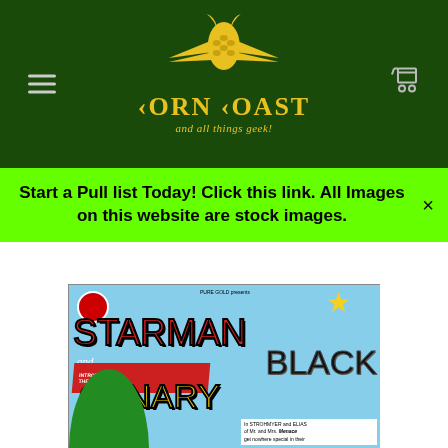[Figure (logo): Corn Coast logo — yellow corn cob with wings on dark green background, with text 'CORN COAST and all things geek!']
Start a Pull list Today! Click this link. All Images on this website are stock images.
[Figure (photo): Comic book cover featuring Starman and Black Canary. DC Comics style cover with large red 'STARMAN' text and yellow 'CANARY' text on light blue background.]